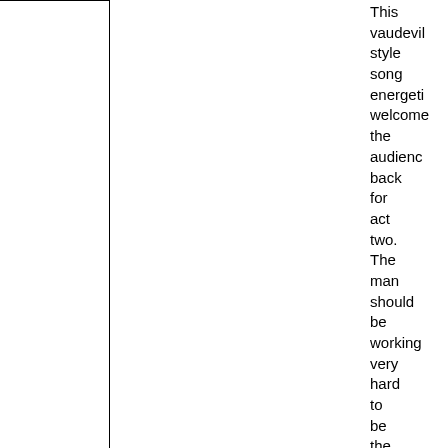This vaudeville style song energetically welcomes the audience back for act two. The man should be working very hard to be the ultimate entertainer and, at the end of the song, welcome